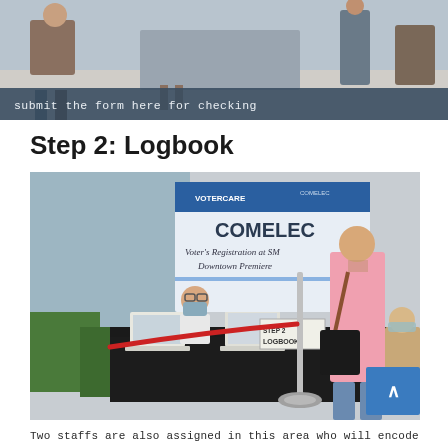[Figure (photo): People at a voter registration area, someone seated at a table with forms]
submit the form here for checking
Step 2: Logbook
[Figure (photo): COMELEC Voter's Registration at SM Downtown Premiere station with Step 2 Logbook sign, staff seated at a table with red rope barrier]
Two staffs are also assigned in this area who will encode the